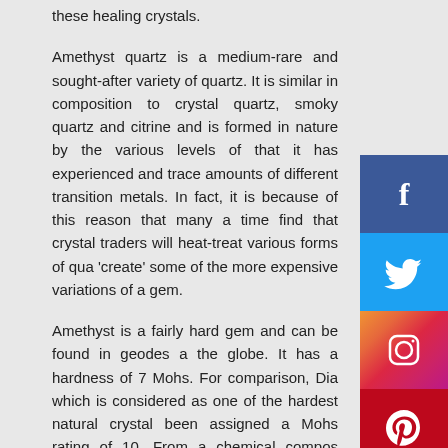these healing crystals.
Amethyst quartz is a medium-rare and sought-after variety of quartz. It is similar in composition to crystal quartz, smoky quartz and citrine and is formed in nature by the various levels of that it has experienced and trace amounts of different transition metals. In fact, it is because of this reason that many a time find that crystal traders will heat-treat various forms of qua 'create' some of the more expensive variations of a gem.
Amethyst is a fairly hard gem and can be found in geodes a the globe. It has a hardness of 7 Mohs. For comparison, Dia which is considered as one of the hardest natural crystal been assigned a Mohs rating of 10. From a chemical compos perspective, amethyst is mainly made of Silicon Dioxide other quartz crystals. It has trace amounts of iron in the c lattice which gives it, its famous beautiful purple color.
Do keep in mind that green quartz and lime citrine